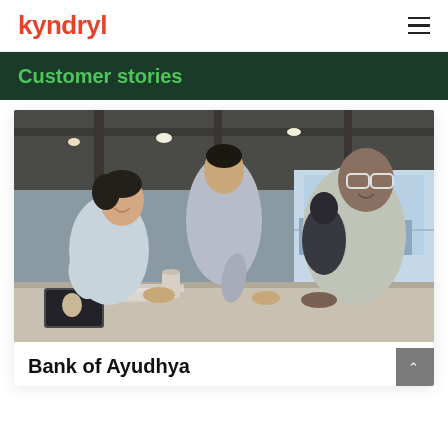kyndryl
Customer stories
[Figure (photo): Three business professionals leaning over a table reviewing documents in a modern office with industrial ceiling, collaborating in a meeting setting.]
Bank of Ayudhya